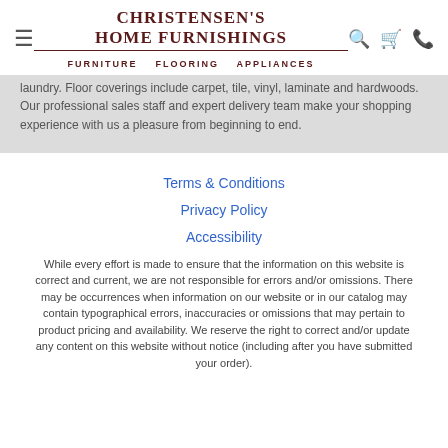CHRISTENSEN'S HOME FURNISHINGS | FURNITURE FLOORING APPLIANCES
laundry. Floor coverings include carpet, tile, vinyl, laminate and hardwoods. Our professional sales staff and expert delivery team make your shopping experience with us a pleasure from beginning to end.
Terms & Conditions
Privacy Policy
Accessibility
While every effort is made to ensure that the information on this website is correct and current, we are not responsible for errors and/or omissions. There may be occurrences when information on our website or in our catalog may contain typographical errors, inaccuracies or omissions that may pertain to product pricing and availability. We reserve the right to correct and/or update any content on this website without notice (including after you have submitted your order).